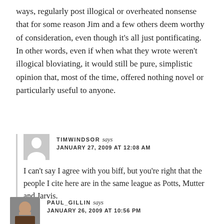ways, regularly post illogical or overheated nonsense that for some reason Jim and a few others deem worthy of consideration, even though it's all just pontificating. In other words, even if when what they wrote weren't illogical bloviating, it would still be pure, simplistic opinion that, most of the time, offered nothing novel or particularly useful to anyone.
TIMWINDSOR says JANUARY 27, 2009 AT 12:08 AM
I can't say I agree with you biff, but you're right that the people I cite here are in the same league as Potts, Mutter and Jarvis.
PAUL_GILLIN says JANUARY 26, 2009 AT 10:56 PM